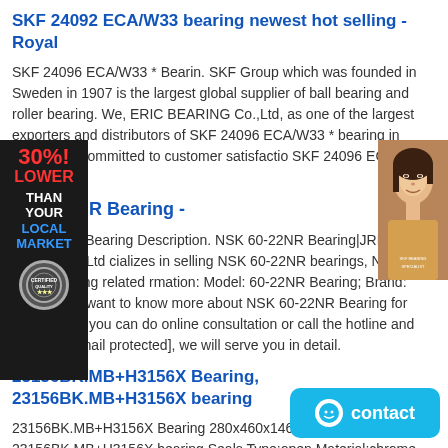SKF 24092 ECA/W33 bearing newest hot selling - Royal
SKF 24096 ECA/W33 * Bearin. SKF Group which was founded in Sweden in 1907 is the largest global supplier of ball bearing and roller bearing. We, ERIC BEARING Co.,Ltd, as one of the largest exporters and distributors of SKF 24096 ECA/W33 * bearing in China, are committed to customer satisfaction SKF 24096 ECA/W33 * bearing.
NSK 60-22NR Bearing -
NSK 60-22NR Bearing Description. NSK 60-22NR Bearing|JRF Bearing Co.Ltd specializes in selling NSK 60-22NR bearings, NSK 60-22NR bearing related information: Model: 60-22NR Bearing; Brand: NSK, if you want to know more about NSK 60-22NR Bearing for information, you can do online consultation or call the hotline and email us [email protected], we will serve you in detail.
23156BK.MB+H3156X Bearing, 23156BK.MB+H3156X bearing
23156BK.MB+H3156X Bearing 280x460x146-SND bearing 23156BK.MB+H3156X bearing,Seals Type:open,Material:chrome steel,Precision Rating:P5 P4 from Jiangsu snader bearing co.ltd,1.high precision 2.low noise ,long life 3.high rotation speed
NTN N410 bearing | N410 Original -
NTN N410 Bearing.HSK Bearing Co.Ltd specializes in selling N410 bearings, NTN N410 bearing related information: Model: N410 Bearing; Brand:
[Figure (infographic): Advertisement overlay with red text '30%! LOWER THAN YOUR LOCAL MARKET' and a circular seal/badge at bottom, on dark background]
[Figure (photo): Photo of a woman's face on a brown/tan background, positioned in upper right area of ad]
[Figure (infographic): Blue contact button with smiley face icon and 'contact' label in bottom right corner]